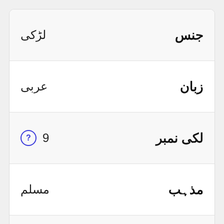| جنس | لڑکی |
| --- | --- |
| جنس | لڑکی |
| زبان | عربی |
| لکی نمبر | 9 ? |
| مذہب | مسلم |
| مختصر نام | ناں |
| حروف کی تعداد | 6 حروف اور 1 لفظ |